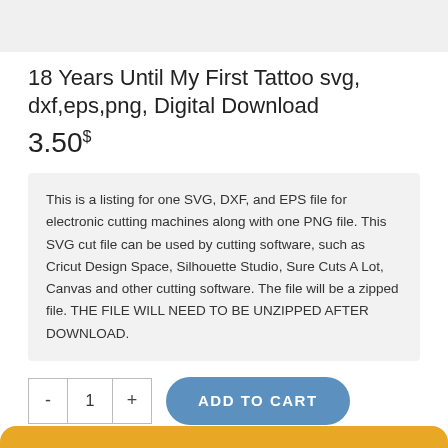18 Years Until My First Tattoo svg, dxf,eps,png, Digital Download
3.50$
This is a listing for one SVG, DXF, and EPS file for electronic cutting machines along with one PNG file. This SVG cut file can be used by cutting software, such as Cricut Design Space, Silhouette Studio, Sure Cuts A Lot, Canvas and other cutting software. The file will be a zipped file. THE FILE WILL NEED TO BE UNZIPPED AFTER DOWNLOAD.